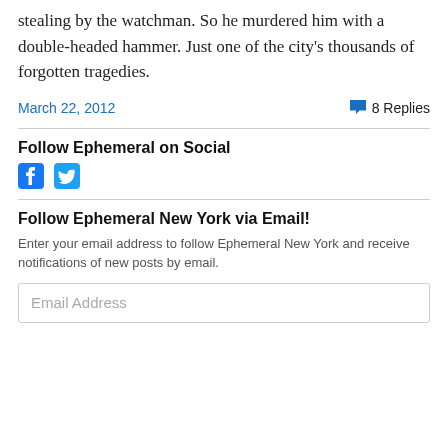stealing by the watchman. So he murdered him with a double-headed hammer. Just one of the city's thousands of forgotten tragedies.
March 22, 2012   8 Replies
Follow Ephemeral on Social
[Figure (other): Facebook and Twitter social media icons in blue]
Follow Ephemeral New York via Email!
Enter your email address to follow Ephemeral New York and receive notifications of new posts by email.
Email Address